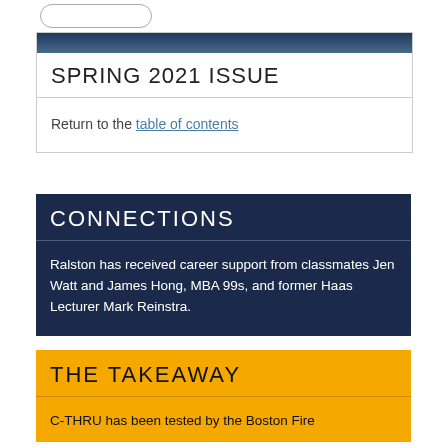SPRING 2021 ISSUE
Return to the table of contents
CONNECTIONS
Ralston has received career support from classmates Jen Watt and James Hong, MBA 99s, and former Haas Lecturer Mark Reinstra.
THE TAKEAWAY
C-THRU has been tested by the Boston Fire